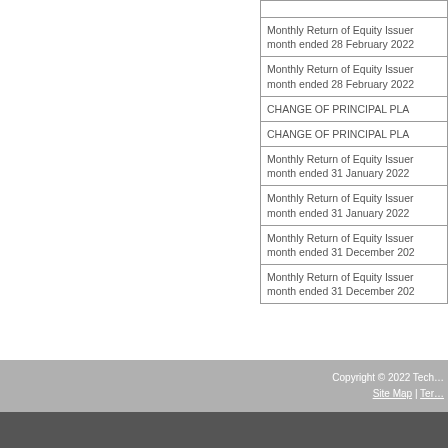| Document |
| --- |
|  |
| Monthly Return of Equity Issuer
month ended 28 February 2022 |
| Monthly Return of Equity Issuer
month ended 28 February 2022 |
| CHANGE OF PRINCIPAL PLA... |
| CHANGE OF PRINCIPAL PLA... |
| Monthly Return of Equity Issuer
month ended 31 January 2022 |
| Monthly Return of Equity Issuer
month ended 31 January 2022 |
| Monthly Return of Equity Issuer
month ended 31 December 202... |
| Monthly Return of Equity Issuer
month ended 31 December 202... |
Copyright © 2022 Techn... Site Map | Ter...